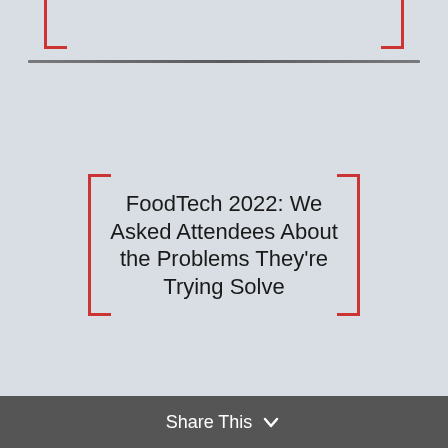[Figure (screenshot): Partial article card visible at top of page, partially cropped, with red bracket borders]
FoodTech 2022: We Asked Attendees About the Problems They're Trying Solve
Share This